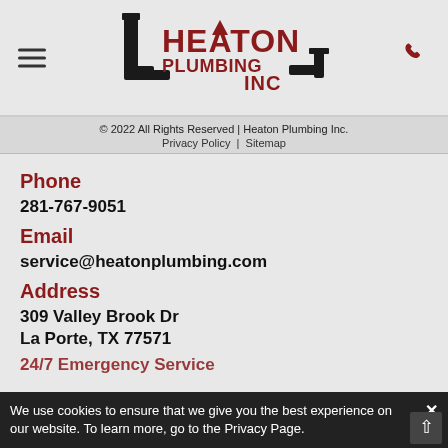[Figure (logo): Heaton Plumbing Inc. logo with pipe graphic and bold red and black text]
© 2022 All Rights Reserved | Heaton Plumbing Inc.
Privacy Policy | Sitemap
Phone
281-767-9051
Email
service@heatonplumbing.com
Address
309 Valley Brook Dr
La Porte, TX 77571
24/7 Emergency Service
We use cookies to ensure that we give you the best experience on our website. To learn more, go to the Privacy Page.